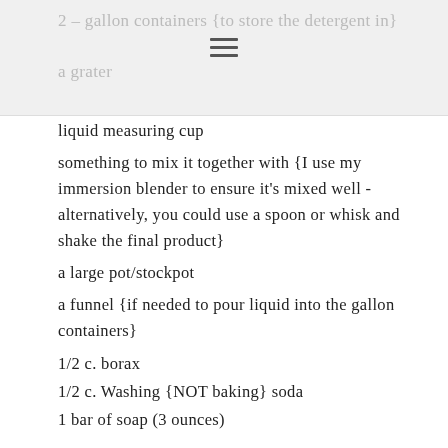2 – gallon containers {to store the detergent in}
a grater
liquid measuring cup
something to mix it together with {I use my immersion blender to ensure it's mixed well - alternatively, you could use a spoon or whisk and shake the final product}
a large pot/stockpot
a funnel {if needed to pour liquid into the gallon containers}
1/2 c. borax
1/2 c. Washing {NOT baking} soda
1 bar of soap (3 ounces)
Add 4 cups water to the stockpot {tap water is fine}. With a grater {or food processor}, grate the soap bar over the stockpot. Turn the stockpot on medium heat and stirring, allow the soap bar to melt into the water. *Large chunks will